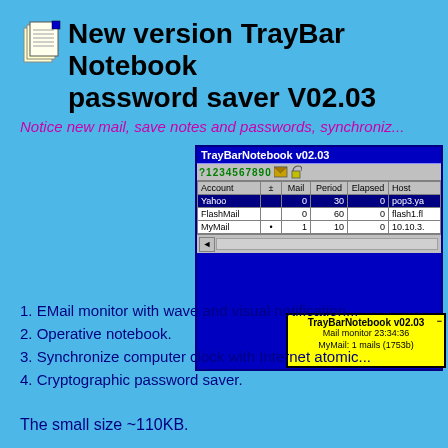New version TrayBar Notebook password saver V02.03
Notice new mail, save notes and passwords, synchroniz...
[Figure (screenshot): Screenshot of TrayBarNotebook v02.03 application window showing email monitor with accounts Yahoo, FlashMail, MyMail and a tooltip balloon]
1. EMail monitor with wave and visual notification
2. Operative notebook.
3. Synchronize computer clock with Internet atomic
4. Cryptographic password saver.
The small size ~110KB.